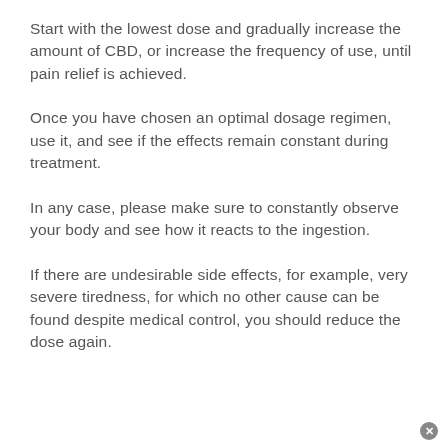Start with the lowest dose and gradually increase the amount of CBD, or increase the frequency of use, until pain relief is achieved.
Once you have chosen an optimal dosage regimen, use it, and see if the effects remain constant during treatment.
In any case, please make sure to constantly observe your body and see how it reacts to the ingestion.
If there are undesirable side effects, for example, very severe tiredness, for which no other cause can be found despite medical control, you should reduce the dose again.